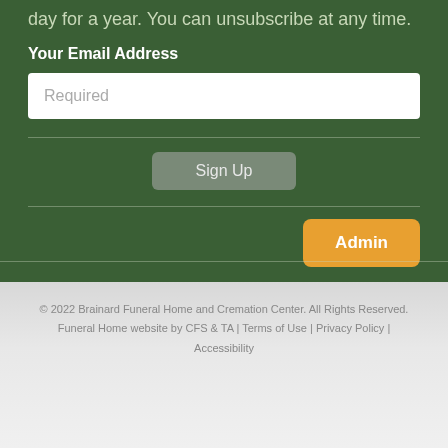day for a year.  You can unsubscribe at any time.
Your Email Address
Required
Sign Up
Admin
© 2022 Brainard Funeral Home and Cremation Center. All Rights Reserved. Funeral Home website by CFS & TA | Terms of Use | Privacy Policy | Accessibility